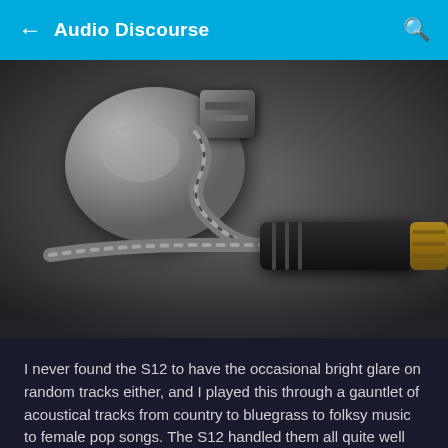Audio Discourse
[Figure (photo): Close-up photograph of an in-ear monitor (IEM) earphone with a silver/metallic shell, MMCX connector, twisted silver cable, and a 3.5mm audio jack with gold and black sections, resting on a dark grey surface.]
I never found the S12 to have the occasional bright glare on random tracks either, and I played this through a gauntlet of acoustical tracks from country to bluegrass to folksy music to female pop songs. The S12 handled them all quite well and with a good amount of "fun" for my tastes.